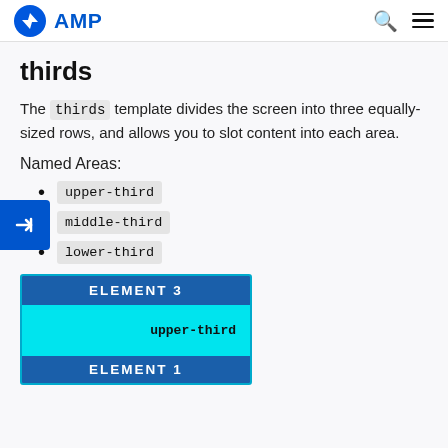AMP
thirds
The thirds template divides the screen into three equally-sized rows, and allows you to slot content into each area.
Named Areas:
upper-third
middle-third
lower-third
[Figure (infographic): Diagram showing the thirds template layout with ELEMENT 3 at the top (dark blue bar), upper-third area (cyan), and ELEMENT 1 bar at bottom (dark blue). Shows the named area upper-third labeled inside the cyan section.]